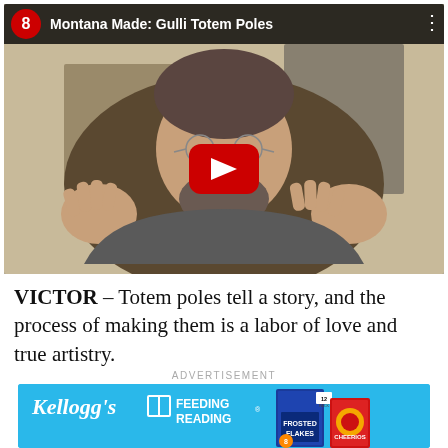[Figure (screenshot): YouTube video thumbnail showing a man with glasses in a workshop, with a red play button overlay. Title bar reads 'Montana Made: Gulli Totem Poles' with a Channel 8 logo.]
VICTOR – Totem poles tell a story, and the process of making them is a labor of love and true artistry.
ADVERTISEMENT
[Figure (screenshot): Kellogg's Feeding Reading advertisement with blue background, Kellogg's script logo, book icon, 'FEEDING READING' text, and cereal boxes including Frosted Flakes and another red box.]